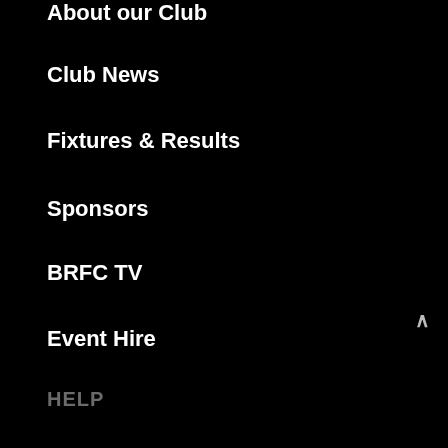About our Club
Club News
Fixtures & Results
Sponsors
BRFC TV
Event Hire
HELP
Contact Us
Get to Eaton Park
Membership
Report a bug
FOLLOW US